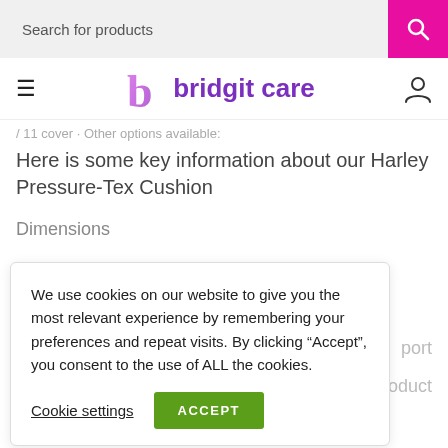Search for products
bridgit care
/ 11 cover · Other options available:
Here is some key information about our Harley Pressure-Tex Cushion
Dimensions
We use cookies on our website to give you the most relevant experience by remembering your preferences and repeat visits. By clicking “Accept”, you consent to the use of ALL the cookies.
Cookie settings
ACCEPT